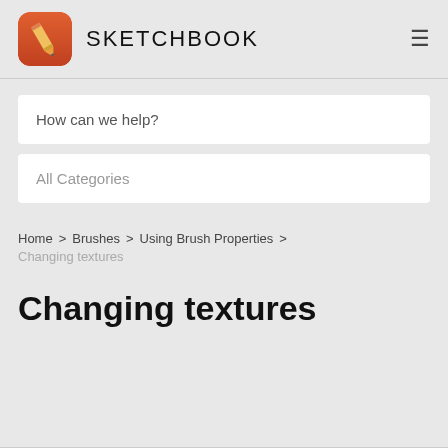SKETCHBOOK
How can we help?
All Categories
Home > Brushes > Using Brush Properties > Changing textures
Changing textures